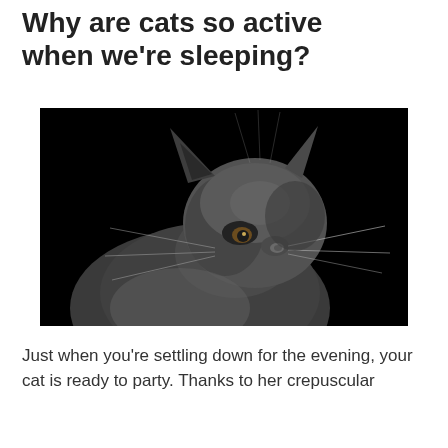Why are cats so active when we're sleeping?
[Figure (photo): Close-up photograph of a dark grey fluffy cat looking upward against a black background]
Just when you're settling down for the evening, your cat is ready to party. Thanks to her crepuscular